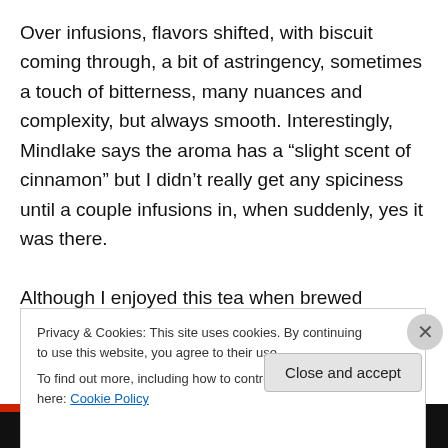Over infusions, flavors shifted, with biscuit coming through, a bit of astringency, sometimes a touch of bitterness, many nuances and complexity, but always smooth. Interestingly, Mindlake says the aroma has a “slight scent of cinnamon” but I didn’t really get any spiciness until a couple infusions in, when suddenly, yes it was there.

Although I enjoyed this tea when brewed western style, I found it far more interesting when brewed by the gongfu method.
Privacy & Cookies: This site uses cookies. By continuing to use this website, you agree to their use.
To find out more, including how to control cookies, see here: Cookie Policy
Close and accept